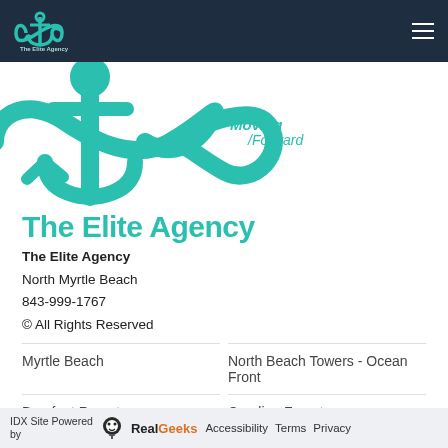[Figure (logo): The Elite Agency logo in navbar - anchor and infinity symbol in teal on dark navy background with hamburger menu icon]
[Figure (logo): Large teal anchor with infinity loop and 'Moving Forward' text hero image]
The Elite Agency
The Elite Agency
North Myrtle Beach
843-999-1767
© All Rights Reserved
Myrtle Beach
North Beach Towers - Ocean Front
Barefoot Resort
Carolina Forest
Surfside Beach
Grande Dunes - Del Webb
IDX Site Powered by  RealGeeks  Accessibility  Terms  Privacy